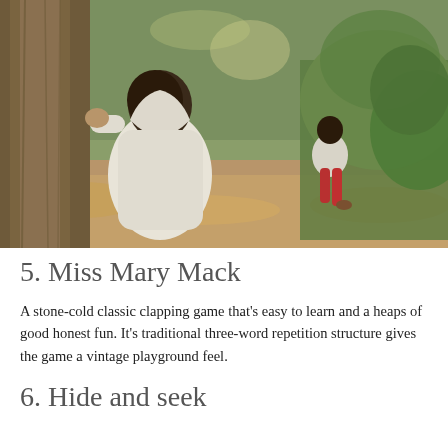[Figure (photo): Two children playing hide and seek outdoors among trees in an autumn woodland setting. One child in a white hoodie faces a tree trunk with head down, while another child in red pants and white top runs away in the background.]
5. Miss Mary Mack
A stone-cold classic clapping game that's easy to learn and a heaps of good honest fun. It's traditional three-word repetition structure gives the game a vintage playground feel.
6. Hide and seek